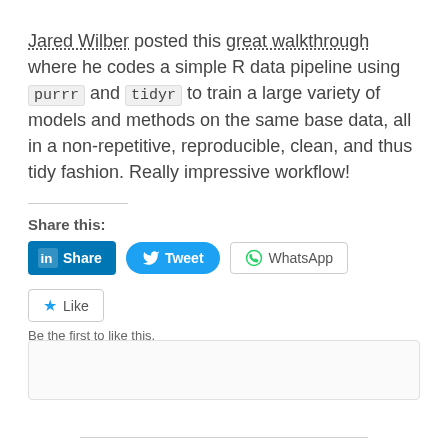Jared Wilber posted this great walkthrough where he codes a simple R data pipeline using purrr and tidyr to train a large variety of models and methods on the same base data, all in a non-repetitive, reproducible, clean, and thus tidy fashion. Really impressive workflow!
Share this:
[Figure (other): Social share buttons: LinkedIn Share (blue), Tweet (blue rounded), WhatsApp (outlined)]
[Figure (other): Like button with star icon and text 'Be the first to like this.']
Be the first to like this.